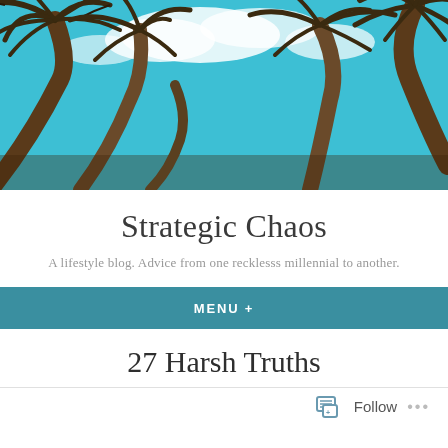[Figure (photo): Looking-up perspective photo of tall palm trees with brown fronds against a bright turquoise/teal sky with white clouds]
Strategic Chaos
A lifestyle blog. Advice from one recklesss millennial to another.
MENU +
27 Harsh Truths
[Figure (screenshot): Follow button widget at the bottom of the page with a document/list icon and three dots menu]